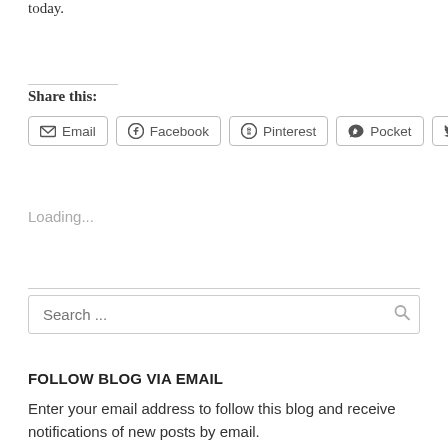today.
Share this:
Email  Facebook  Pinterest  Pocket  Twitter
Loading...
Search ...
FOLLOW BLOG VIA EMAIL
Enter your email address to follow this blog and receive notifications of new posts by email.